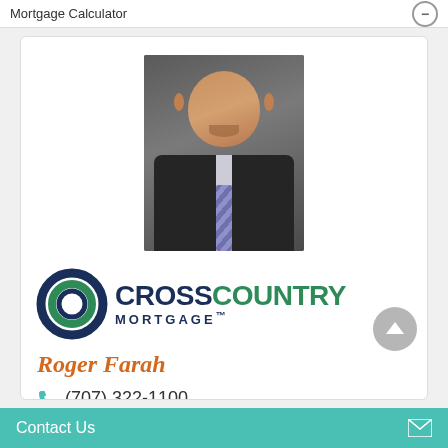Mortgage Calculator
[Figure (photo): Professional headshot of a middle-aged man in a dark suit and striped tie, smiling, with short gray hair and a goatee, against a dark background]
[Figure (logo): CrossCountry Mortgage logo with CCM circular icon in navy and green, text CROSSCOUNTRY in navy and green, MORTGAGE™ in navy]
Roger Farah
(707) 322-1100
Contact Us